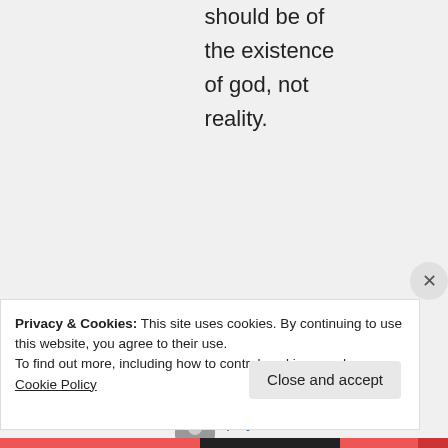should be of the existence of god, not reality.
↳ Reply
physic sandwhiskey on
Privacy & Cookies: This site uses cookies. By continuing to use this website, you agree to their use.
To find out more, including how to control cookies, see here: Cookie Policy
Close and accept